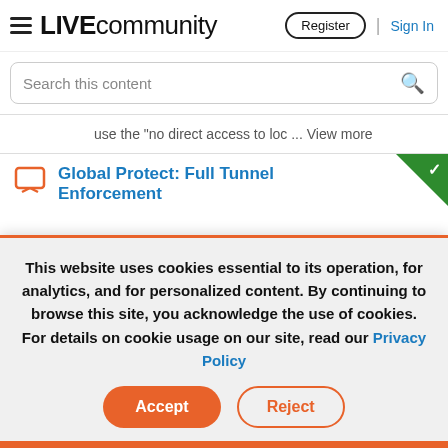LIVE community | Register | Sign In
Search this content
use the "no direct access to loc ... View more
Global Protect: Full Tunnel Enforcement
This website uses cookies essential to its operation, for analytics, and for personalized content. By continuing to browse this site, you acknowledge the use of cookies. For details on cookie usage on our site, read our Privacy Policy
Accept
Reject